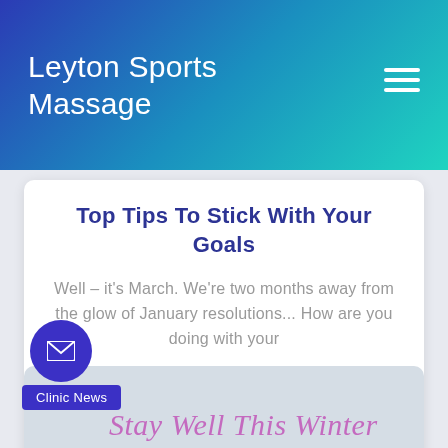Leyton Sports Massage
Top Tips To Stick With Your Goals
Well – it's March. We're two months away from the glow of January resolutions... How are you doing with your
read more
4 January 2020
Stay Well This Winter
Clinic News